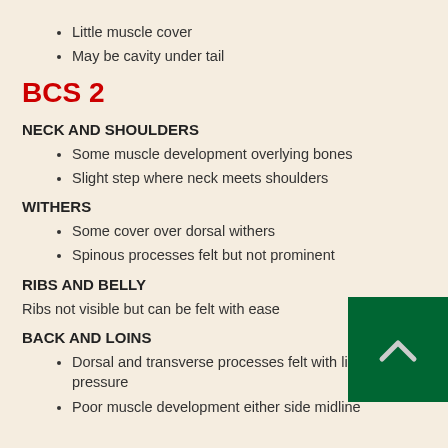Little muscle cover
May be cavity under tail
BCS 2
NECK AND SHOULDERS
Some muscle development overlying bones
Slight step where neck meets shoulders
WITHERS
Some cover over dorsal withers
Spinous processes felt but not prominent
RIBS AND BELLY
Ribs not visible but can be felt with ease
BACK AND LOINS
Dorsal and transverse processes felt with light pressure
Poor muscle development either side midline
[Figure (illustration): Green square button with a white upward-pointing chevron icon]